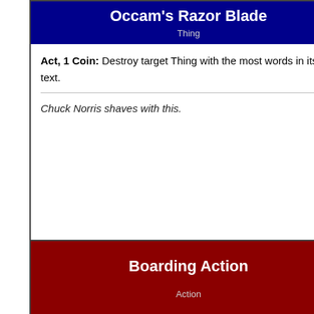Occam's Razor Blade
Thing
Act, 1 Coin: Destroy target Thing with the most words in its rules text.
Chuck Norris shaves with this.
Card by ChippyYYZ
Boarding Action
Action
Give control of any number of your Things to target player. Destroy that many Things that player owns.